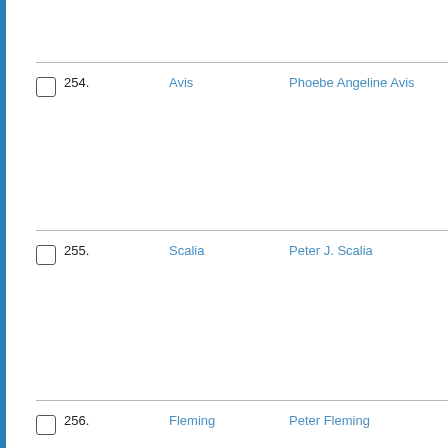254. Avis  Phoebe Angeline Avis
255. Scalia  Peter J. Scalia
256. Fleming  Peter Fleming